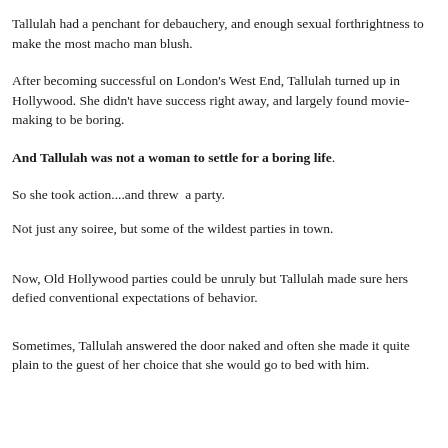Tallulah had a penchant for debauchery, and enough sexual forthrightness to make the most macho man blush.
After becoming successful on London's West End, Tallulah turned up in Hollywood. She didn't have success right away, and largely found movie-making to be boring.
And Tallulah was not a woman to settle for a boring life.
So she took action....and threw  a party.
Not just any soiree, but some of the wildest parties in town.
Now, Old Hollywood parties could be unruly but Tallulah made sure hers defied conventional expectations of behavior.
Sometimes, Tallulah answered the door naked and often she made it quite plain to the guest of her choice that she would go to bed with him.